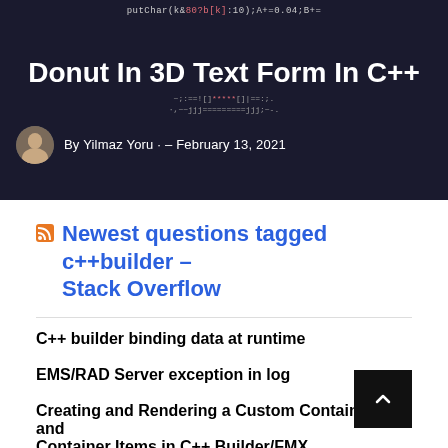[Figure (screenshot): Dark banner image with code text overlay, showing the article title 'Donut In 3D Text Form In C++' with author Yilmaz Yoru and date February 13, 2021]
Newest questions tagged c++builder – Stack Overflow
C++ builder binding data at runtime
EMS/RAD Server exception in log
Creating and Rendering a Custom Container Box and Container Items in C++ Builder/FMX